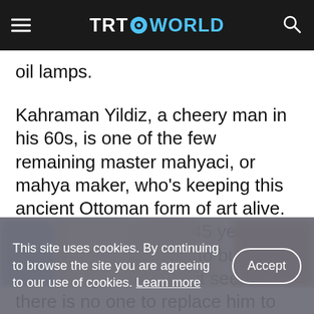TRT WORLD
oil lamps.
Kahraman Yildiz, a cheery man in his 60s, is one of the few remaining master mahyaci, or mahya maker, who's keeping this ancient Ottoman form of art alive. He has spent the last 45 years giving up his free time to build and form mahya, and now it seems there is no one to replace him to continue this tradition.
[Figure (photo): Blurred/partially visible photograph of a person or scene related to the mahya tradition]
This site uses cookies. By continuing to browse the site you are agreeing to our use of cookies. Learn more